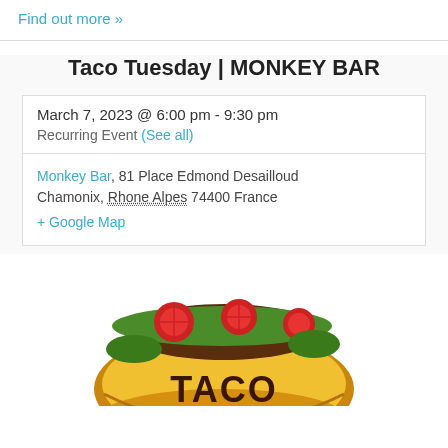Find out more »
Taco Tuesday | MONKEY BAR
March 7, 2023 @ 6:00 pm - 9:30 pm
Recurring Event (See all)
Monkey Bar, 81 Place Edmond Desailloud Chamonix, Rhone Alpes 74400 France
+ Google Map
[Figure (illustration): Colorful illustration of a taco with the text TACO TUESDAY, showing a yellow taco shell filled with tomatoes, lettuce, and other toppings. The words TACO are in large brown letters on the shell, and TUESDAY appears below in green letters.]